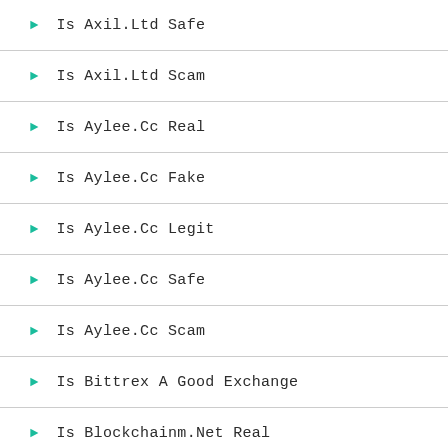Is Axil.Ltd Safe
Is Axil.Ltd Scam
Is Aylee.Cc Real
Is Aylee.Cc Fake
Is Aylee.Cc Legit
Is Aylee.Cc Safe
Is Aylee.Cc Scam
Is Bittrex A Good Exchange
Is Blockchainm.Net Real
Is Blockchainm.Net Fake
Is Blockchainm.Net Legit
Is Blockchainm.Net Safe
Is Blockchainm.Net Scam